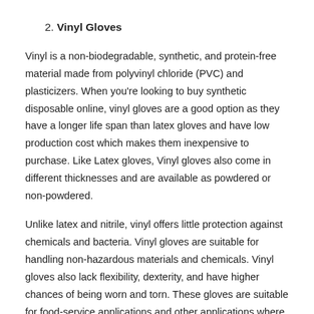2. Vinyl Gloves
Vinyl is a non-biodegradable, synthetic, and protein-free material made from polyvinyl chloride (PVC) and plasticizers. When you're looking to buy synthetic disposable online, vinyl gloves are a good option as they have a longer life span than latex gloves and have low production cost which makes them inexpensive to purchase. Like Latex gloves, Vinyl gloves also come in different thicknesses and are available as powdered or non-powdered.
Unlike latex and nitrile, vinyl offers little protection against chemicals and bacteria. Vinyl gloves are suitable for handling non-hazardous materials and chemicals. Vinyl gloves also lack flexibility, dexterity, and have higher chances of being worn and torn. These gloves are suitable for food-service applications and other applications where product protection doesn't require much dexterity and tactility.